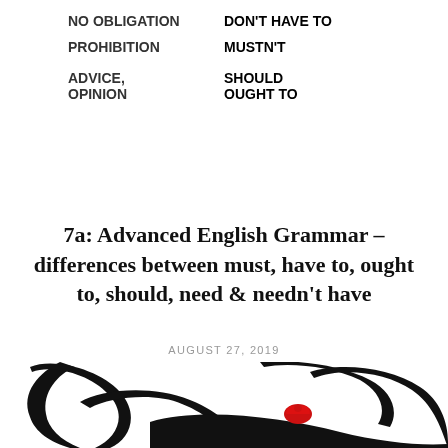| NO OBLIGATION | DON'T HAVE TO |
| PROHIBITION | MUSTN'T |
| ADVICE,
OPINION | SHOULD
OUGHT TO |
7a: Advanced English Grammar – differences between must, have to, ought to, should, need & needn't have
AUGUST 27, 2019
[Figure (logo): Large black brushstroke calligraphic script logo with a small red crown/logo mark, partial view of a script word (possibly 'Gra' or similar)]